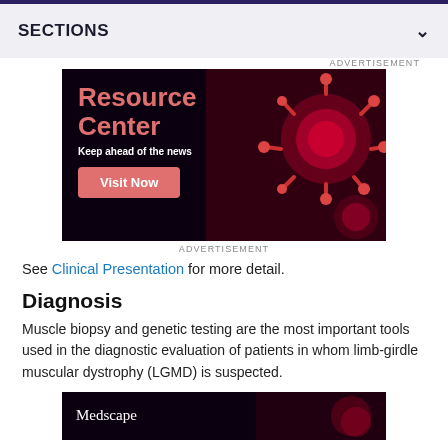SECTIONS
[Figure (photo): Advertisement banner for a Resource Center with red virus imagery. Text reads 'Resource Center', 'Keep ahead of the news', and a 'Visit Now' button.]
ADVERTISEMENT
See Clinical Presentation for more detail.
Diagnosis
Muscle biopsy and genetic testing are the most important tools used in the diagnostic evaluation of patients in whom limb-girdle muscular dystrophy (LGMD) is suspected.
[Figure (photo): Partial view of a Medscape advertisement banner with dark background and red imagery.]